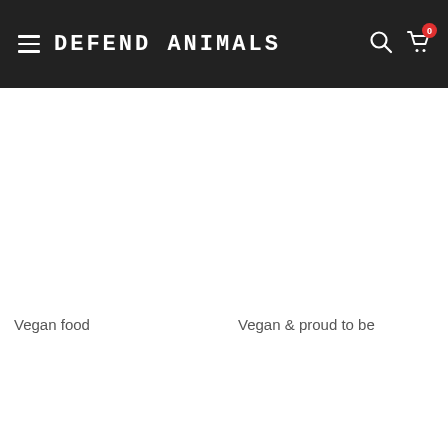DEFEND ANIMALS
Vegan food
Vegan & proud to be